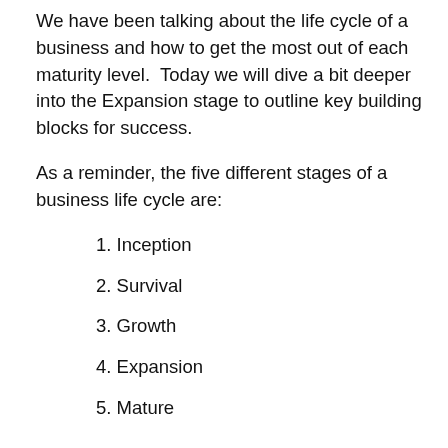We have been talking about the life cycle of a business and how to get the most out of each maturity level. Today we will dive a bit deeper into the Expansion stage to outline key building blocks for success.
As a reminder, the five different stages of a business life cycle are:
1. Inception
2. Survival
3. Growth
4. Expansion
5. Mature